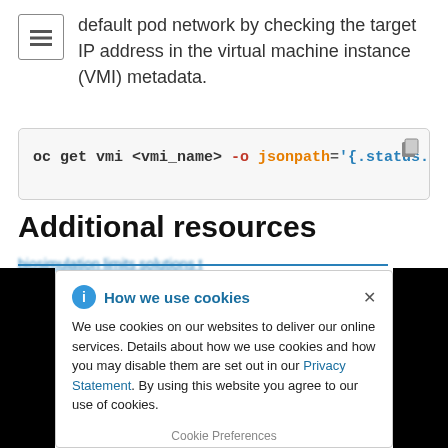default pod network by checking the target IP address in the virtual machine instance (VMI) metadata.
oc get vmi <vmi_name> -o jsonpath='{.status.
Additional resources
How we use cookies
We use cookies on our websites to deliver our online services. Details about how we use cookies and how you may disable them are set out in our Privacy Statement. By using this website you agree to our use of cookies.
Cookie Preferences